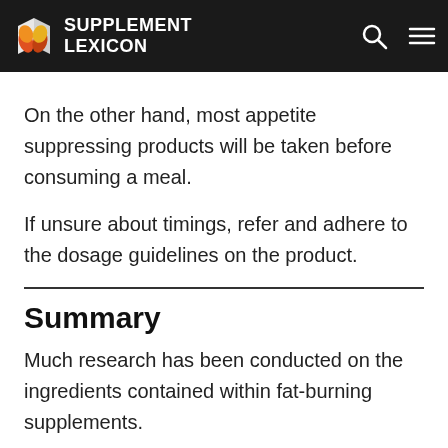SUPPLEMENT LEXICON
On the other hand, most appetite suppressing products will be taken before consuming a meal.
If unsure about timings, refer and adhere to the dosage guidelines on the product.
Summary
Much research has been conducted on the ingredients contained within fat-burning supplements.